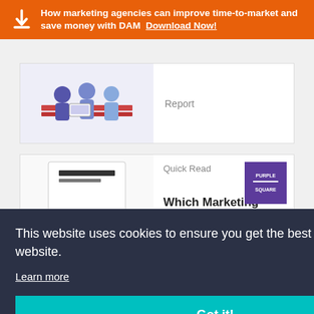How marketing agencies can improve time-to-market and save money with DAM  Download Now!
[Figure (illustration): Thumbnail image of report showing people working at a desk]
Report
[Figure (illustration): Thumbnail image of a Quick Read document cover with purple background and figures]
Quick Read
[Figure (logo): Purple Square logo in purple box]
Which Marketing Campaigns Should You Outsource
This website uses cookies to ensure you get the best experience on our website.
Learn more
Got it!
[Figure (illustration): Webinar Practices Series thumbnail image]
1 Hour
[Figure (logo): ON24 logo]